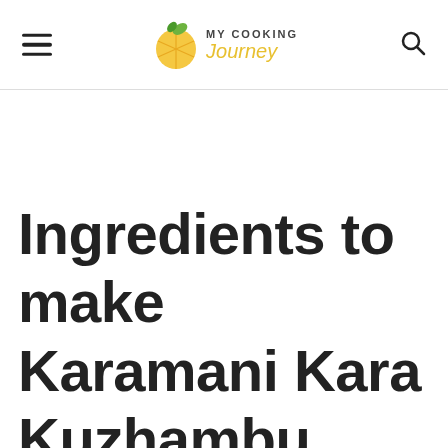MY COOKING Journey
Ingredients to make Karamani Kara Kuzhambu